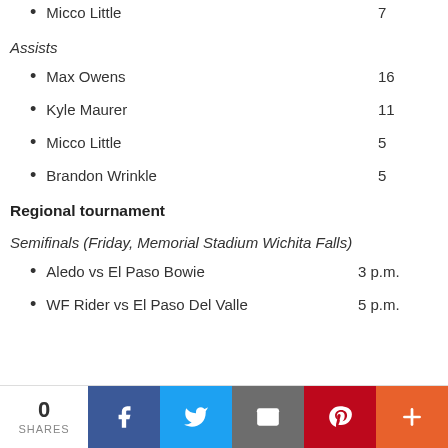Micco Little    7
Assists
Max Owens    16
Kyle Maurer    11
Micco Little    5
Brandon Wrinkle    5
Regional tournament
Semifinals (Friday, Memorial Stadium Wichita Falls)
Aledo vs El Paso Bowie    3 p.m.
WF Rider vs El Paso Del Valle    5 p.m.
0 SHARES